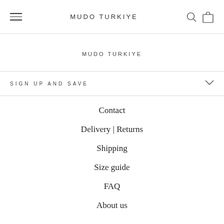MUDO TURKIYE
MUDO TURKIYE
SIGN UP AND SAVE
Contact
Delivery | Returns
Shipping
Size guide
FAQ
About us